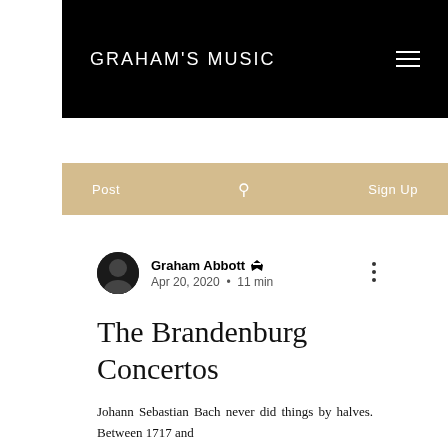GRAHAM'S MUSIC
Post   Sign Up
Graham Abbott Admin
Apr 20, 2020 • 11 min
The Brandenburg Concertos
Johann Sebastian Bach never did things by halves. Between 1717 and